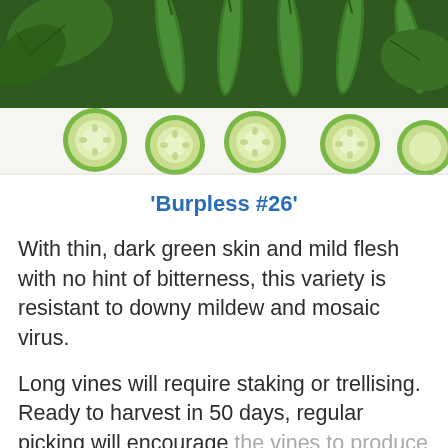[Figure (photo): Photo of cucumbers: whole dark green cucumbers with leaves and sliced cucumber rounds arranged on a white background, viewed from above.]
‘Burpless #26’
With thin, dark green skin and mild flesh with no hint of bitterness, this variety is resistant to downy mildew and mosaic virus.
Long vines will require staking or trellising. Ready to harvest in 50 days, regular picking will encourage the vines to produce more fruit.